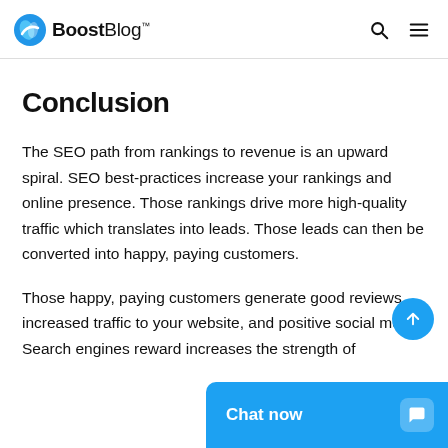BoostBlog
Conclusion
The SEO path from rankings to revenue is an upward spiral. SEO best-practices increase your rankings and online presence. Those rankings drive more high-quality traffic which translates into leads. Those leads can then be converted into happy, paying customers.
Those happy, paying customers generate good reviews, increased traffic to your website, and positive social media. Search engines reward increases the strength of